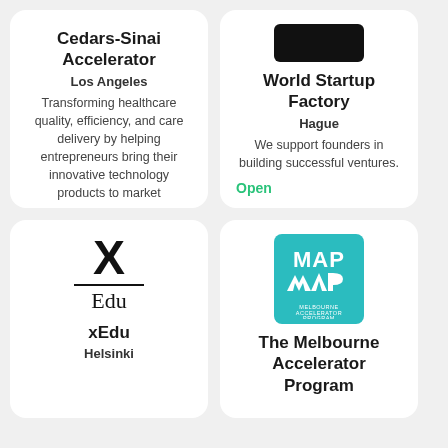Cedars-Sinai Accelerator
Los Angeles
Transforming healthcare quality, efficiency, and care delivery by helping entrepreneurs bring their innovative technology products to market
Open  $100K
[Figure (logo): World Startup Factory black logo box]
World Startup Factory
Hague
We support founders in building successful ventures.
Open
[Figure (logo): xEdu logo: large X letter over horizontal line over Edu text]
xEdu
Helsinki
[Figure (logo): MAP - Melbourne Accelerator Program teal square logo with white M-A-P arrows graphic]
The Melbourne Accelerator Program